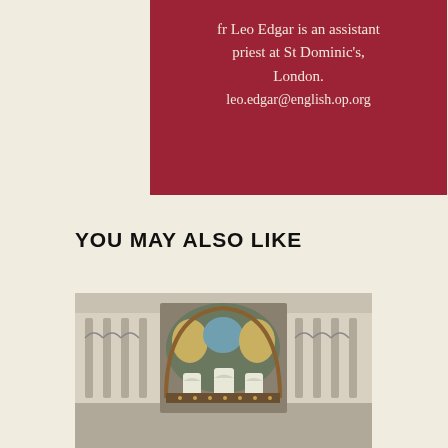fr Leo Edgar is an assistant priest at St Dominic's, London.
leo.edgar@english.op.org
YOU MAY ALSO LIKE
[Figure (photo): Interior of a church with a decorated apse mosaic showing biblical figures, arched windows, and colonnaded nave on both sides.]